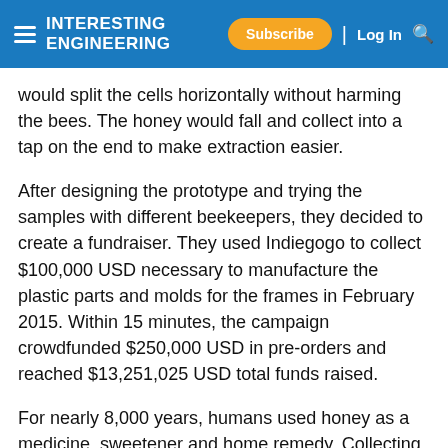INTERESTING ENGINEERING | Subscribe | Log In
would split the cells horizontally without harming the bees. The honey would fall and collect into a tap on the end to make extraction easier.
After designing the prototype and trying the samples with different beekeepers, they decided to create a fundraiser. They used Indiegogo to collect $100,000 USD necessary to manufacture the plastic parts and molds for the frames in February 2015. Within 15 minutes, the campaign crowdfunded $250,000 USD in pre-orders and reached $13,251,025 USD total funds raised.
For nearly 8,000 years, humans used honey as a medicine, sweetener and home remedy. Collecting honey has had an equally long history. Cave paintings in Valencia, Spain indicate people were gathering the